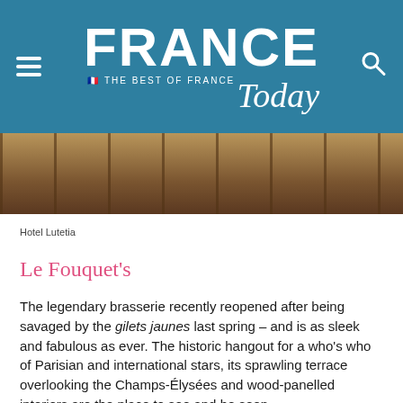FRANCE Today — THE BEST OF FRANCE
[Figure (photo): Partial view of Hotel Lutetia interior showing dark wood furniture/chairs]
Hotel Lutetia
Le Fouquet's
The legendary brasserie recently reopened after being savaged by the gilets jaunes last spring – and is as sleek and fabulous as ever. The historic hangout for a who's who of Parisian and international stars, its sprawling terrace overlooking the Champs-Élysées and wood-panelled interiors are the place to see and be seen.